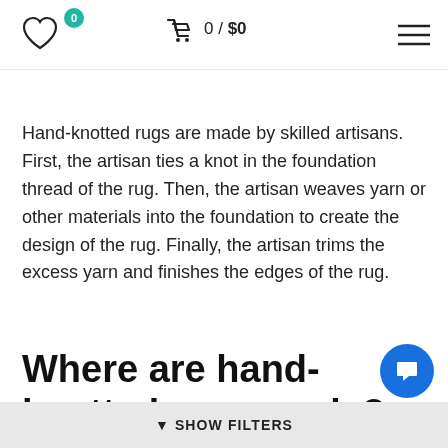♡ 0  🛒 0 / $0  ≡
Hand-knotted rugs are made by skilled artisans. First, the artisan ties a knot in the foundation thread of the rug. Then, the artisan weaves yarn or other materials into the foundation to create the design of the rug. Finally, the artisan trims the excess yarn and finishes the edges of the rug.
Where are hand-knotted rugs made?
▼ SHOW FILTERS